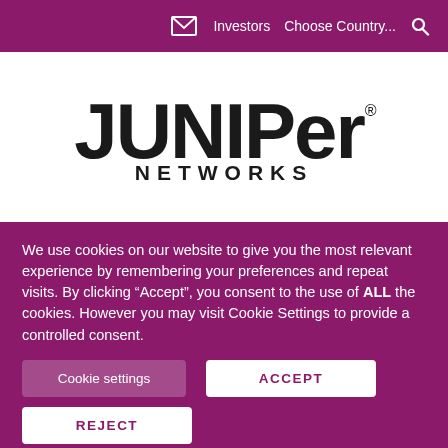Investors  Choose Country...
[Figure (logo): Juniper Networks logo — large bold black text 'JUNIPer.' with 'NETWORKS' below in wide-spaced capitals on white background]
We use cookies on our website to give you the most relevant experience by remembering your preferences and repeat visits. By clicking “Accept”, you consent to the use of ALL the cookies. However you may visit Cookie Settings to provide a controlled consent.
Cookie settings
ACCEPT
REJECT